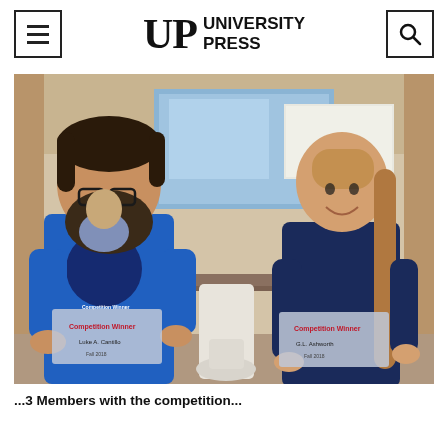UP UNIVERSITY PRESS
[Figure (photo): Two people standing in a classroom/lecture room holding award plaques. On the left, a bearded man in a blue t-shirt with a graphic design holds a plaque. On the right, a young woman with a long braid in a navy blue top holds a similar plaque. Between them on a table is a white 3D-printed prosthetic leg/foot model. A projector screen and whiteboard are visible in the background.]
...3 Members with the competition...